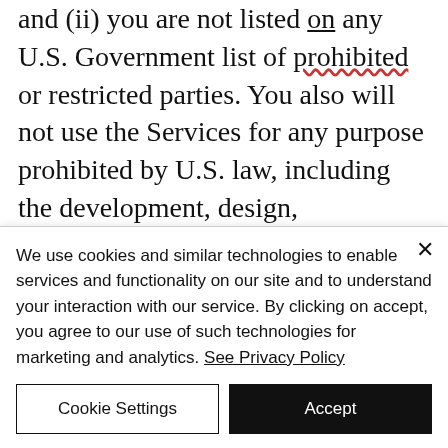and (ii) you are not listed on any U.S. Government list of prohibited or restricted parties. You also will not use the Services for any purpose prohibited by U.S. law, including the development, design, manufacture, or production of missiles or nuclear, chemical, or biological weapons. You may not use, export, re-export, import, or transfer the Services except as authorized by United
We use cookies and similar technologies to enable services and functionality on our site and to understand your interaction with our service. By clicking on accept, you agree to our use of such technologies for marketing and analytics. See Privacy Policy
Cookie Settings
Accept